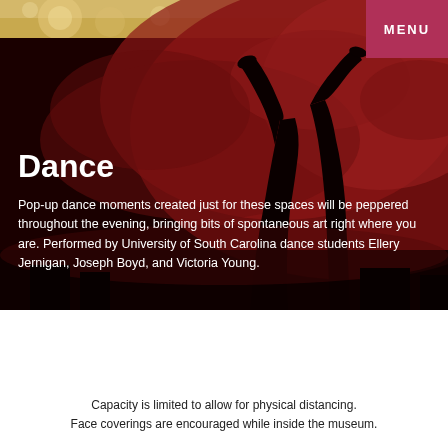[Figure (photo): Dark dramatic photo with deep red/crimson sky and silhouette of dancer's legs raised up against the sky. Top strip has golden/amber tones.]
Dance
Pop-up dance moments created just for these spaces will be peppered throughout the evening, bringing bits of spontaneous art right where you are. Performed by University of South Carolina dance students Ellery Jernigan, Joseph Boyd, and Victoria Young.
Capacity is limited to allow for physical distancing.
Face coverings are encouraged while inside the museum.